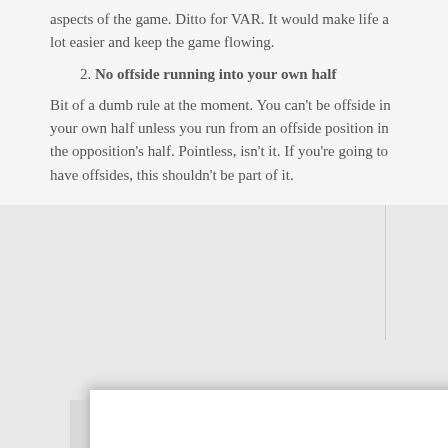aspects of the game. Ditto for VAR. It would make life a lot easier and keep the game flowing.
2. No offside running into your own half
Bit of a dumb rule at the moment. You can't be offside in your own half unless you run from an offside position in the opposition's half. Pointless, isn't it. If you're going to have offsides, this shouldn't be part of it.